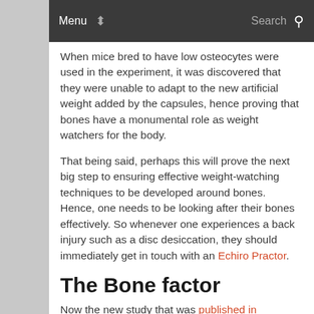Menu  ⬍  Search 🔍
When mice bred to have low osteocytes were used in the experiment, it was discovered that they were unable to adapt to the new artificial weight added by the capsules, hence proving that bones have a monumental role as weight watchers for the body.
That being said, perhaps this will prove the next big step to ensuring effective weight-watching techniques to be developed around bones. Hence, one needs to be looking after their bones effectively. So whenever one experiences a back injury such as a disc desiccation, they should immediately get in touch with an Echiro Practor.
The Bone factor
Now the new study that was published in